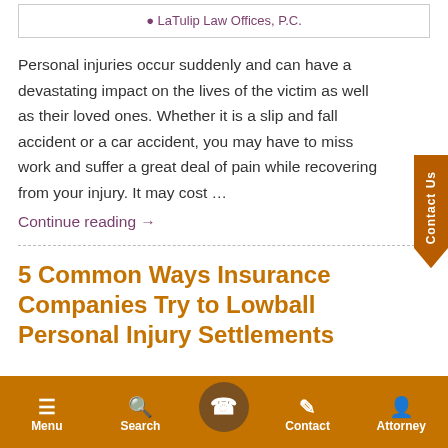LaTulip Law Offices, P.C.
Personal injuries occur suddenly and can have a devastating impact on the lives of the victim as well as their loved ones. Whether it is a slip and fall accident or a car accident, you may have to miss work and suffer a great deal of pain while recovering from your injury. It may cost …
Continue reading →
5 Common Ways Insurance Companies Try to Lowball Personal Injury Settlements
[Figure (screenshot): Contact Us tab on the right side of the page]
Menu | Search | (phone) | Contact | Attorney